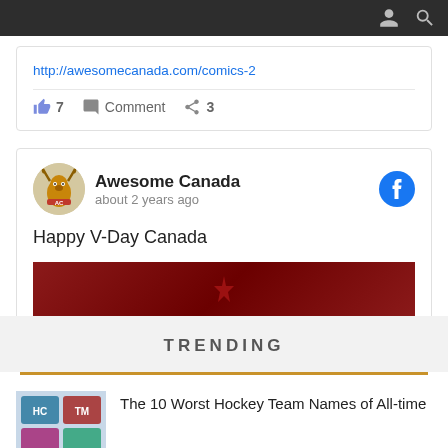[Figure (screenshot): Top navigation bar with user icon and search icon on dark background]
http://awesomecanada.com/comics-2
7  Comment  3
[Figure (screenshot): Awesome Canada social media post card with avatar, Facebook icon, text 'Happy V-Day Canada', and red image preview]
TRENDING
The 10 Worst Hockey Team Names of All-time
The Dirty Secret Behind the Death of the Penny